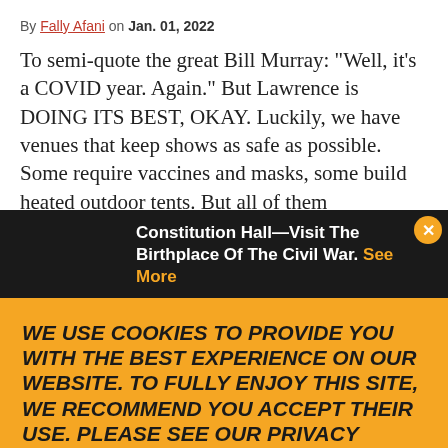By Fally Afani on Jan. 01, 2022
To semi-quote the great Bill Murray: “Well, it’s a COVID year. Again.” But Lawrence is DOING ITS BEST, OKAY. Luckily, we have venues that keep shows as safe as possible. Some require vaccines and masks, some build heated outdoor tents. But all of them
[Figure (photo): Photo of a white historic building/house, cropped partially visible behind the ad banner]
Constitution Hall—Visit The Birthplace Of The Civil War. See More
WE USE COOKIES TO PROVIDE YOU WITH THE BEST EXPERIENCE ON OUR WEBSITE. TO FULLY ENJOY THIS SITE, WE RECOMMEND YOU ACCEPT THEIR USE. PLEASE SEE OUR PRIVACY POLICY HERE.
ACCEPT
[Figure (photo): Partial view of a crowd/concert scene at the bottom of the page]